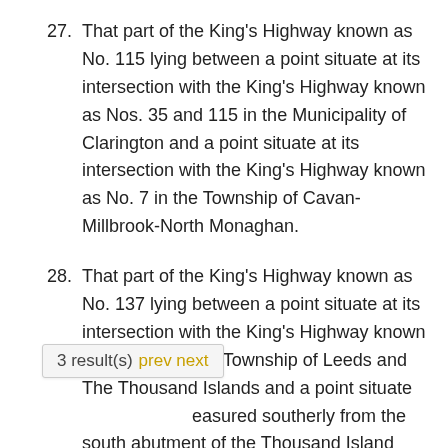27. That part of the King's Highway known as No. 115 lying between a point situate at its intersection with the King's Highway known as Nos. 35 and 115 in the Municipality of Clarington and a point situate at its intersection with the King's Highway known as No. 7 in the Township of Cavan-Millbrook-North Monaghan.
28. That part of the King's Highway known as No. 137 lying between a point situate at its intersection with the King's Highway known as No. 401 in the Township of Leeds and The Thousand Islands and a point situate measured southerly from the south abutment of the Thousand Island